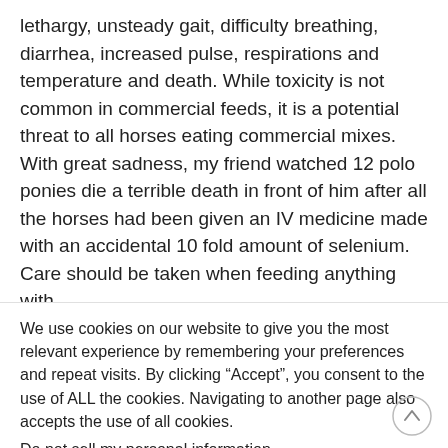lethargy, unsteady gait, difficulty breathing, diarrhea, increased pulse, respirations and temperature and death. While toxicity is not common in commercial feeds, it is a potential threat to all horses eating commercial mixes. With great sadness, my friend watched 12 polo ponies die a terrible death in front of him after all the horses had been given an IV medicine made with an accidental 10 fold amount of selenium. Care should be taken when feeding anything with
We use cookies on our website to give you the most relevant experience by remembering your preferences and repeat visits. By clicking "Accept", you consent to the use of ALL the cookies. Navigating to another page also accepts the use of all cookies.
Do not sell my personal information.
Cookie settings  ACCEPT